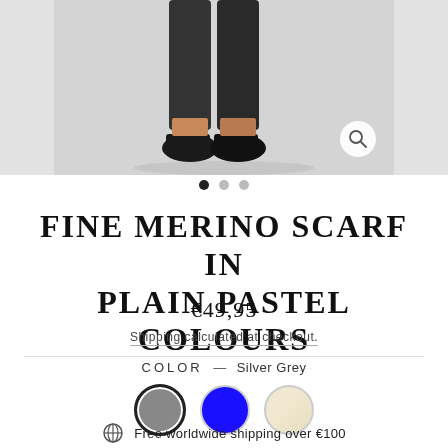[Figure (photo): Product photo showing lower half of a person wearing dark slim trousers and black loafers on a light grey background. A magnifier/zoom icon is visible in the bottom right of the photo. Three navigation dots appear below the image (first dot filled, two lighter).]
FINE MERINO SCARF IN PLAIN PASTEL COLOURS
€49,95
Shipping calculated at checkout.
COLOR — Silver Grey
Free worldwide shipping over €100